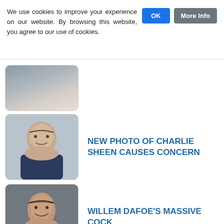We use cookies to improve your experience on our website. By browsing this website, you agree to our use of cookies.
[Figure (photo): Partial thumbnail of a man's face at top of list]
NEW PHOTO OF CHARLIE SHEEN CAUSES CONCERN
[Figure (photo): Thumbnail photo of Charlie Sheen]
WILLEM DAFOE'S MASSIVE COCK
[Figure (photo): Thumbnail photo of Willem Dafoe]
FIRST LOOK AT MATT DAMON IN CASTAWAY 2
[Figure (photo): Thumbnail movie poster for Castaway 2 to Mars]